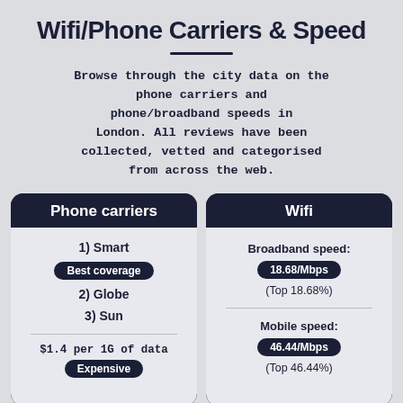Wifi/Phone Carriers & Speed
Browse through the city data on the phone carriers and phone/broadband speeds in London. All reviews have been collected, vetted and categorised from across the web.
Phone carriers
1) Smart
Best coverage
2) Globe
3) Sun
$1.4 per 1G of data
Expensive
Wifi
Broadband speed:
18.68/Mbps
(Top 18.68%)
Mobile speed:
46.44/Mbps
(Top 46.44%)